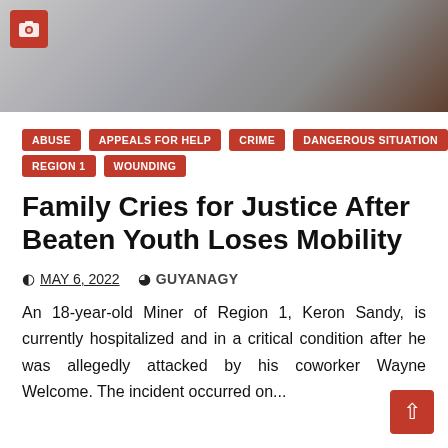[Figure (photo): Partial photo of a person lying in a hospital bed with a striped pillow, partially cropped at top of page. A red camera badge/icon is visible in the top-left corner.]
ABUSE
APPEALS FOR HELP
CRIME
DANGEROUS SITUATION
REGION 1
WOUNDING
Family Cries for Justice After Beaten Youth Loses Mobility
MAY 6, 2022   GUYANAGY
An 18-year-old Miner of Region 1, Keron Sandy, is currently hospitalized and in a critical condition after he was allegedly attacked by his coworker Wayne Welcome. The incident occurred on...